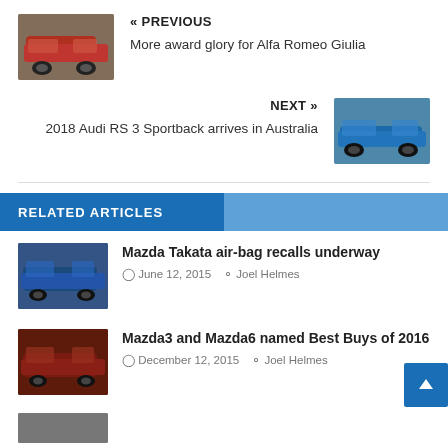« PREVIOUS
More award glory for Alfa Romeo Giulia
[Figure (photo): Red Alfa Romeo Giulia car in motion]
NEXT »
2018 Audi RS 3 Sportback arrives in Australia
[Figure (photo): Blue Audi RS 3 Sportback car]
RELATED ARTICLES
[Figure (photo): Blue Mazda car]
Mazda Takata air-bag recalls underway
© June 12, 2015  Joel Helmes
[Figure (photo): Red Mazda6 car]
Mazda3 and Mazda6 named Best Buys of 2016
© December 12, 2015  Joel Helmes